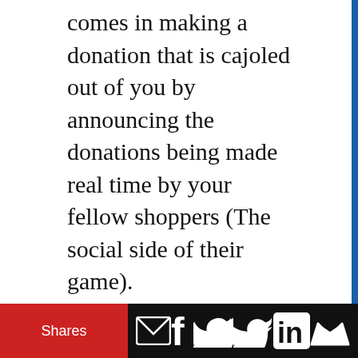comes in making a donation that is cajoled out of you by announcing the donations being made real time by your fellow shoppers (The social side of their game).
Five ways they could've made the game more fun
However, it seems they could've amplified their success by also using the four primary motivational constructs of gaming: leaderboards, points, badges and challenges.
Leaderboards: Since I'm a Club Card member, why didn't they ask for permission to announce not just my
Shares